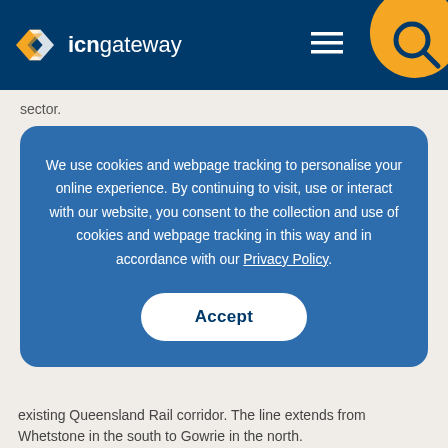icngateway
sector.
We use cookies and webpage tracking to personalise your online experience. By continuing to visit, use or interact with our website, you consent to the collection and use of cookies and webpage tracking in this way and in accordance with our Privacy Policy.
Accept
existing Queensland Rail corridor. The line extends from Whetstone in the south to Gowrie in the north.